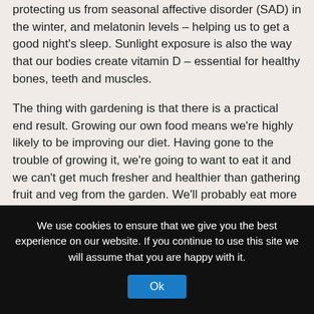protecting us from seasonal affective disorder (SAD) in the winter, and melatonin levels – helping us to get a good night's sleep. Sunlight exposure is also the way that our bodies create vitamin D – essential for healthy bones, teeth and muscles.
The thing with gardening is that there is a practical end result. Growing our own food means we're highly likely to be improving our diet. Having gone to the trouble of growing it, we're going to want to eat it and we can't get much fresher and healthier than gathering fruit and veg from the garden. We'll probably eat more of it too.
Gardening can even be educational. We can't help but practice old and acquire new skills and knowledge – and we get a tangible reward – all good for self- esteem and an optimistic outlook.
We use cookies to ensure that we give you the best experience on our website. If you continue to use this site we will assume that you are happy with it.